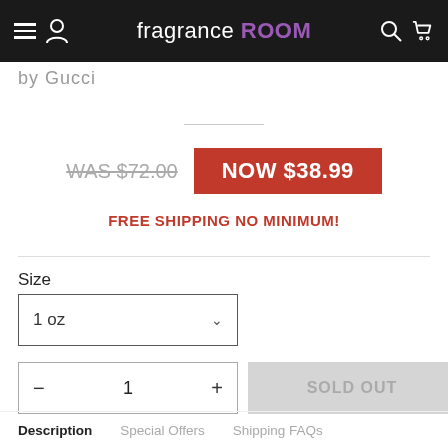fragrance ROOM
by Gucci
WAS $72.00  NOW $38.99
FREE SHIPPING NO MINIMUM!
Size
1 oz
- 1 +  SOLD OUT
Description   Special Offers   Shipping FAQs